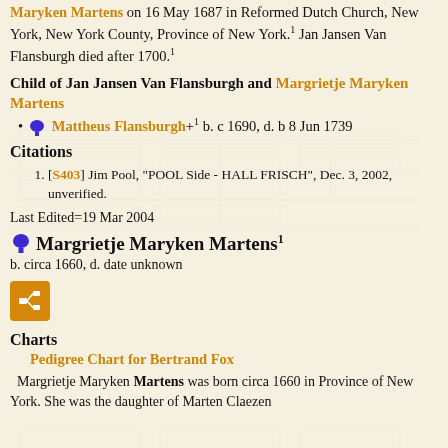Maryken Martens on 16 May 1687 in Reformed Dutch Church, New York, New York County, Province of New York.1 Jan Jansen Van Flansburgh died after 1700.1
Child of Jan Jansen Van Flansburgh and Margrietje Maryken Martens
Mattheus Flansburgh+1 b. c 1690, d. b 8 Jun 1739
Citations
[S403] Jim Pool, "POOL Side - HALL FRISCH", Dec. 3, 2002, unverified.
Last Edited=19 Mar 2004
Margrietje Maryken Martens1
b. circa 1660, d. date unknown
Charts
Pedigree Chart for Bertrand Fox
Margrietje Maryken Martens was born circa 1660 in Province of New York. She was the daughter of Marten Claezen